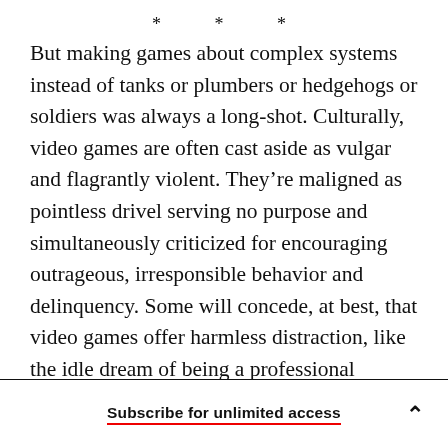* * *
But making games about complex systems instead of tanks or plumbers or hedgehogs or soldiers was always a long-shot. Culturally, video games are often cast aside as vulgar and flagrantly violent. They’re maligned as pointless drivel serving no purpose and simultaneously criticized for encouraging outrageous, irresponsible behavior and delinquency. Some will concede, at best, that video games offer harmless distraction, like the idle dream of being a professional football player. These perceptions come from the same place as video-
Subscribe for unlimited access